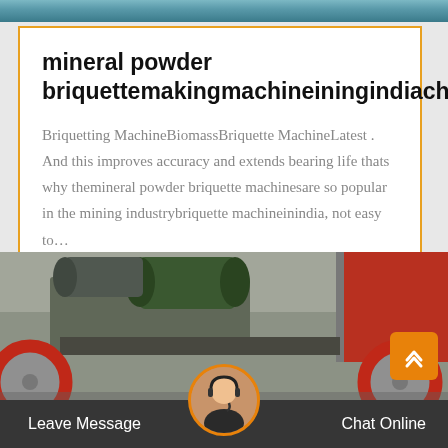[Figure (photo): Top strip showing industrial machinery background in blue-green tones]
mineral powder briquettemakingmachineiningindiachandigarh
Briquetting MachineBiomassBriquette MachineLatest . And this improves accuracy and extends bearing life thats why themineral powder briquette machinesare so popular in the mining industrybriquette machineinindia, not easy to…
[Figure (photo): Industrial briquetting machinery with red wheels and green/dark equipment components]
Leave Message   Chat Online